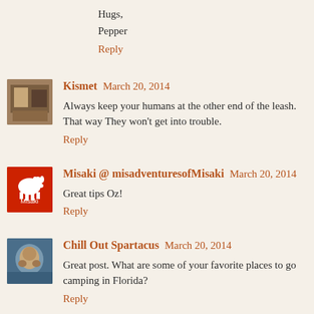Hugs,
Pepper
Reply
Kismet  March 20, 2014
Always keep your humans at the other end of the leash. That way They won't get into trouble.
Reply
Misaki @ misadventuresofMisaki  March 20, 2014
Great tips Oz!
Reply
Chill Out Spartacus  March 20, 2014
Great post. What are some of your favorite places to go camping in Florida?
Reply